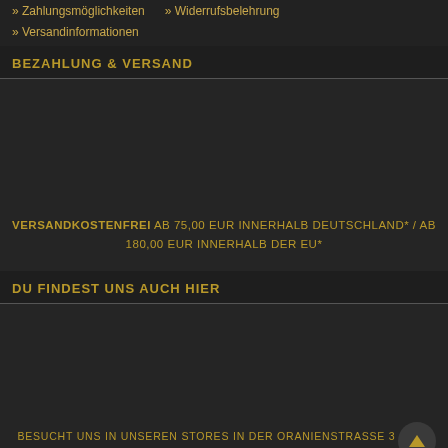» Zahlungsmöglichkeiten   » Widerrufsbelehrung
» Versandinformationen
BEZAHLUNG & VERSAND
VERSANDKOSTENFREI AB 75,00 EUR INNERHALB DEUTSCHLAND* / AB 180,00 EUR INNERHALB DER EU*
DU FINDEST UNS AUCH HIER
BESUCHT UNS IN UNSEREN STORES IN DER ORANIENSTRASSE 3 & 195
10997 BERLIN-KREUZBERG